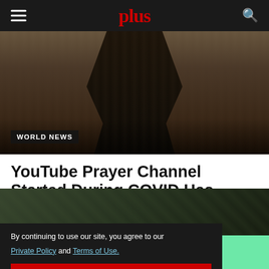plus
[Figure (photo): Man in black t-shirt standing with arms crossed against a curtained background. Category badge reads WORLD NEWS.]
YouTube Prayer Channel Started During COVID Has Become a Global Movement
By continuing to use our site, you agree to our Private Policy and Terms of Use.
Accept
[Figure (photo): Partial photo of people at the bottom of the page]
Hear a patient's real experience »